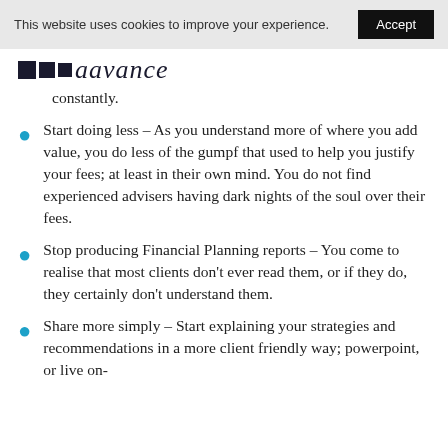This website uses cookies to improve your experience. Accept
[Figure (logo): Three dark navy squares followed by italic script text reading 'aavance']
constantly.
Start doing less – As you understand more of where you add value, you do less of the gumpf that used to help you justify your fees; at least in their own mind. You do not find experienced advisers having dark nights of the soul over their fees.
Stop producing Financial Planning reports – You come to realise that most clients don't ever read them, or if they do, they certainly don't understand them.
Share more simply – Start explaining your strategies and recommendations in a more client friendly way; powerpoint, or live on-